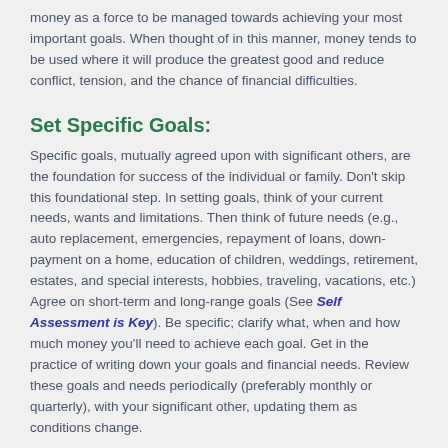money as a force to be managed towards achieving your most important goals. When thought of in this manner, money tends to be used where it will produce the greatest good and reduce conflict, tension, and the chance of financial difficulties.
Set Specific Goals:
Specific goals, mutually agreed upon with significant others, are the foundation for success of the individual or family. Don't skip this foundational step. In setting goals, think of your current needs, wants and limitations. Then think of future needs (e.g., auto replacement, emergencies, repayment of loans, down-payment on a home, education of children, weddings, retirement, estates, and special interests, hobbies, traveling, vacations, etc.) Agree on short-term and long-range goals (See Self Assessment is Key). Be specific; clarify what, when and how much money you'll need to achieve each goal. Get in the practice of writing down your goals and financial needs. Review these goals and needs periodically (preferably monthly or quarterly), with your significant other, updating them as conditions change.
Keep a Financial Inventory:
Know where you stand financially. Take an inventory of your assets